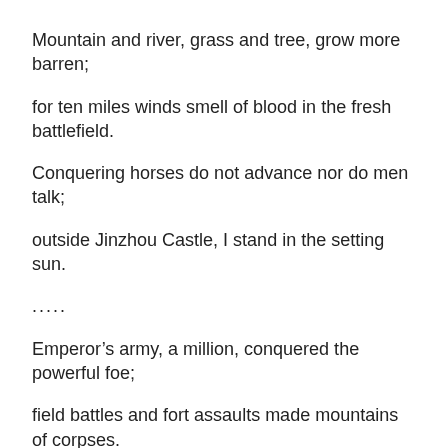Mountain and river, grass and tree, grow more barren;
for ten miles winds smell of blood in the fresh battlefield.
Conquering horses do not advance nor do men talk;
outside Jinzhou Castle, I stand in the setting sun.
.....
Emperor’s army, a million, conquered the powerful foe;
field battles and fort assaults made mountains of corpses.
Ashamed – how can I face their fathers, grandfathers?
We triumph today?
. . . . .